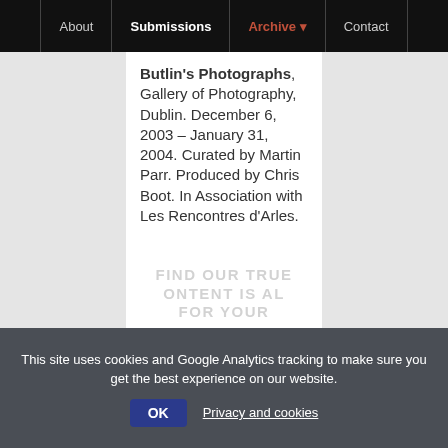About | Submissions | Archive | Contact
Butlin's Photographs, Gallery of Photography, Dublin. December 6, 2003 – January 31, 2004. Curated by Martin Parr. Produced by Chris Boot. In Association with Les Rencontres d'Arles.
This site uses cookies and Google Analytics tracking to make sure you get the best experience on our website.
OK  Privacy and cookies